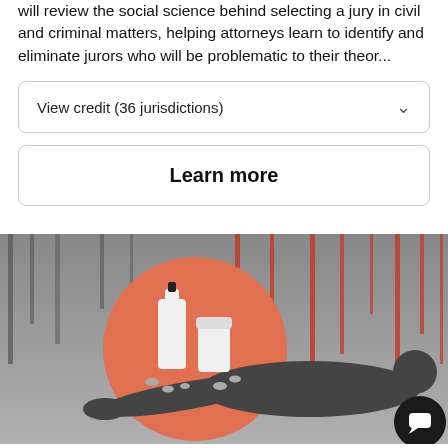will review the social science behind selecting a jury in civil and criminal matters, helping attorneys learn to identify and eliminate jurors who will be problematic to their theor...
View credit (36 jurisdictions)
Learn more
[Figure (illustration): Illustration showing a dark silhouette of a person lying down with an outstretched arm, holding an orange circle containing a liquor bottle, a pill bottle, and scattered pills, with dark dripping streaks in the background on a gray gradient.]
Lawyers & Substance Abuse - You are Not Alone: How to Know There's a Problem for...